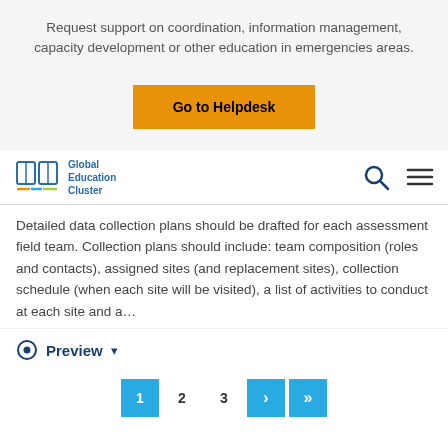Request support on coordination, information management, capacity development or other education in emergencies areas.
[Figure (other): Orange button labeled 'Go to Helpdesk']
[Figure (logo): Global Education Cluster logo with book icon and navigation icons (search, menu)]
Detailed data collection plans should be drafted for each assessment field team. Collection plans should include: team composition (roles and contacts), assigned sites (and replacement sites), collection schedule (when each site will be visited), a list of activities to conduct at each site and a...
Preview ▾
[Figure (other): Pagination controls: page 1 (active, blue), 2, 3, next (›), last (»)]